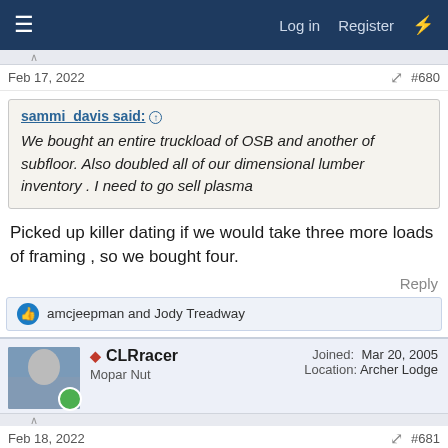≡  Log in  Register  ⚡
Feb 17, 2022  #680
sammi_davis said: ↑  We bought an entire truckload of OSB and another of subfloor. Also doubled all of our dimensional lumber inventory . I need to go sell plasma
Picked up killer dating if we would take three more loads of framing , so we bought four.
Reply
amcjeepman and Jody Treadway
CLRracer  Mopar Nut  Joined: Mar 20, 2005  Location: Archer Lodge
Feb 18, 2022  #681
[Figure (photo): Photo of person outdoors, warm tones]